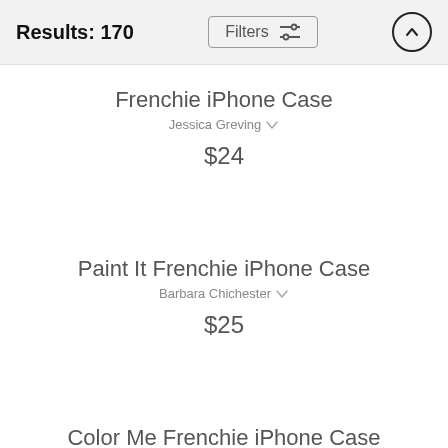Results: 170
Frenchie iPhone Case
Jessica Greving
$24
Paint It Frenchie iPhone Case
Barbara Chichester
$25
Color Me Frenchie iPhone Case
Barbara Chichester
$25